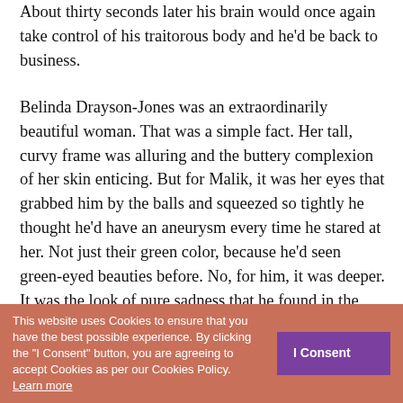About thirty seconds later his brain would once again take control of his traitorous body and he'd be back to business.
Belinda Drayson-Jones was an extraordinarily beautiful woman. That was a simple fact. Her tall, curvy frame was alluring and the buttery complexion of her skin enticing. But for Malik, it was her eyes that grabbed him by the balls and squeezed so tightly he thought he'd have an aneurysm every time he stared at her. Not just their green color, because he'd seen green-eyed beauties before. No, for him, it was deeper. It was the look of pure sadness that he found in the hazel-flecked depths that kept a stranglehold on him.
Even today, as he finally pushed through the door and walked into the showroom, he could tell she wasn't happy.
"Morning, good people. How are we today?" he asked in
where
"I...
This website uses Cookies to ensure that you have the best possible experience. By clicking the "I Consent" button, you are agreeing to accept Cookies as per our Cookies Policy. Learn more